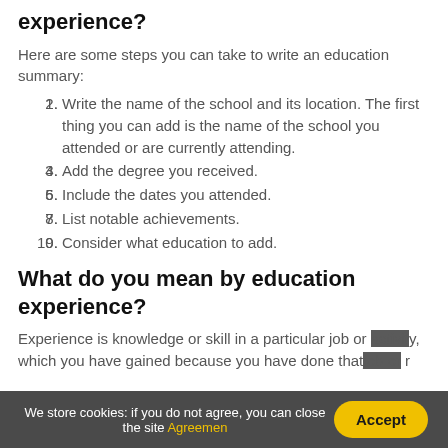experience?
Here are some steps you can take to write an education summary:
1. Write the name of the school and its location. The first thing you can add is the name of the school you attended or are currently attending.
2. Add the degree you received.
3. Include the dates you attended.
4. List notable achievements.
5. Consider what education to add.
What do you mean by education experience?
Experience is knowledge or skill in a particular job or activity, which you have gained because you have done that job or
We store cookies: if you do not agree, you can close the site Agreement